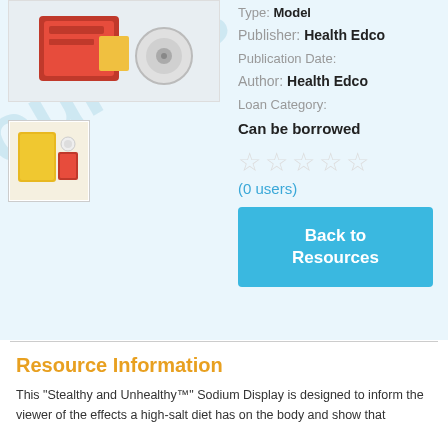[Figure (photo): Main product photo of Stealthy and Unhealthy Sodium Display model with red packaging and components]
[Figure (photo): Thumbnail image of the sodium display product]
Type: Model
Publisher: Health Edco
Publication Date:
Author: Health Edco
Loan Category: Can be borrowed
(0 users)
Back to Resources
Resource Information
This "Stealthy and Unhealthy™" Sodium Display is designed to inform the viewer of the effects a high-salt diet has on the body and show that